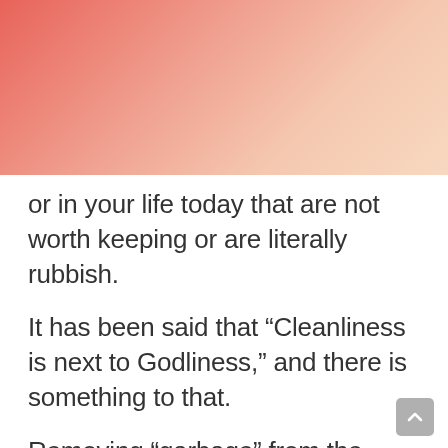[Figure (illustration): Gradient background header with warm salmon-to-peach color gradient fading from top-left to top-right]
or in your life today that are not worth keeping or are literally rubbish.
It has been said that “Cleanliness is next to Godliness,” and there is something to that.
Removing “garbage” from the mind, spirit, and body is not only necessary, but it is also at times accomplished in our dreams.